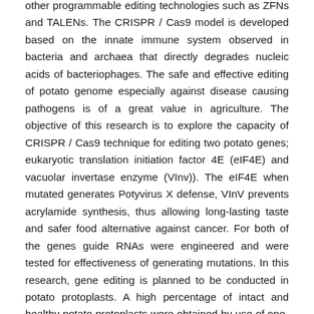other programmable editing technologies such as ZFNs and TALENs. The CRISPR / Cas9 model is developed based on the innate immune system observed in bacteria and archaea that directly degrades nucleic acids of bacteriophages. The safe and effective editing of potato genome especially against disease causing pathogens is of a great value in agriculture. The objective of this research is to explore the capacity of CRISPR / Cas9 technique for editing two potato genes; eukaryotic translation initiation factor 4E (eIF4E) and vacuolar invertase enzyme (VInv)). The eIF4E when mutated generates Potyvirus X defense, VInV prevents acrylamide synthesis, thus allowing long-lasting taste and safer food alternative against cancer. For both of the genes guide RNAs were engineered and were tested for effectiveness of generating mutations. In this research, gene editing is planned to be conducted in potato protoplasts. A high percentage of intact and healthy potato protoplasts were obtained by use of one-month-old plantlets grown in soil, long dark treatment (four days), and lower centrifugation speed during the isolation. Overall, it was possible to set up CRISPR / Cas9 tests in vitro and optimize in vivo studies with the use of better quality potato